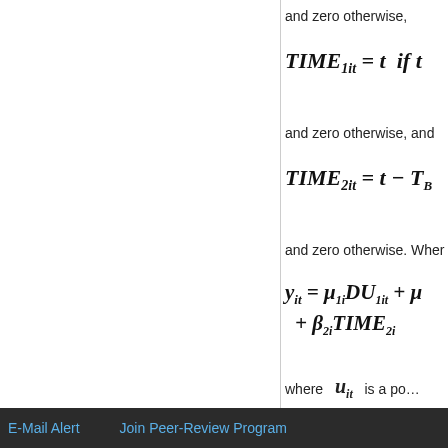and zero otherwise,
and zero otherwise, and
and zero otherwise. Wher
where u_{it} is a possibly s
Top
ABSTRACT
Introduction
Structural Breaks of Public Finances in the Eurozone
Contagion of Public Debt in the Eurozone
E-Mail Alert    Join Peer-Review Program